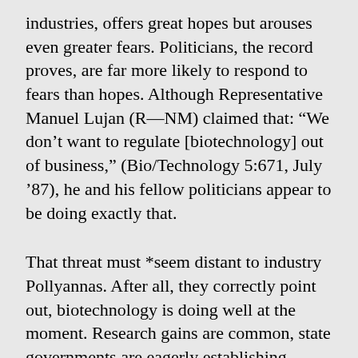industries, offers great hopes but arouses even greater fears. Politicians, the record proves, are far more likely to respond to fears than hopes. Although Representative Manuel Lujan (R—NM) claimed that: “We don’t want to regulate [biotechnology] out of business,” (Bio/Technology 5:671, July ’87), he and his fellow politicians appear to be doing exactly that.
That threat must *seem distant to industry Pollyannas. After all, they correctly point out, biotechnology is doing well at the moment. Research gains are common, state governments are eagerly establishing special programs, Congress seems willing to expand the intellectual property laws on demand, and most